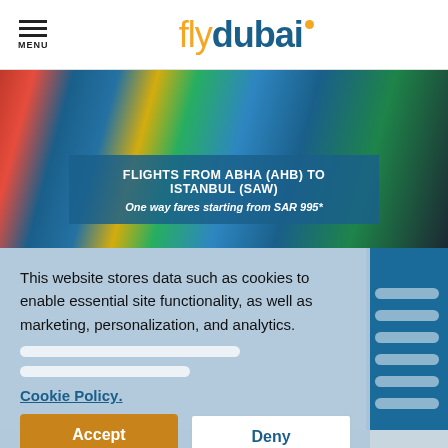MENU | flydubai
[Figure (photo): Colorful street scene with Turkish flags in Istanbul, used as hero background image]
FLIGHTS FROM ABHA (AHB) TO ISTANBUL (SAW)
One way fares starting from SAR 995*
This website stores data such as cookies to enable essential site functionality, as well as marketing, personalization, and analytics.
Cookie Policy.
Accept
Deny